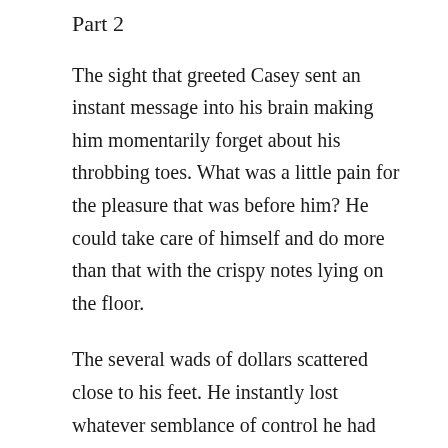Part 2
The sight that greeted Casey sent an instant message into his brain making him momentarily forget about his throbbing toes. What was a little pain for the pleasure that was before him? He could take care of himself and do more than that with the crispy notes lying on the floor.
The several wads of dollars scattered close to his feet. He instantly lost whatever semblance of control he had over his jaw muscles. He opened and closed his mouth several times like a fish deprived of water. Maybe it was because his mouth was suddenly dry. He desperately needed water, but that was a luxury his clients didn't think was necessary for him. He provided his water